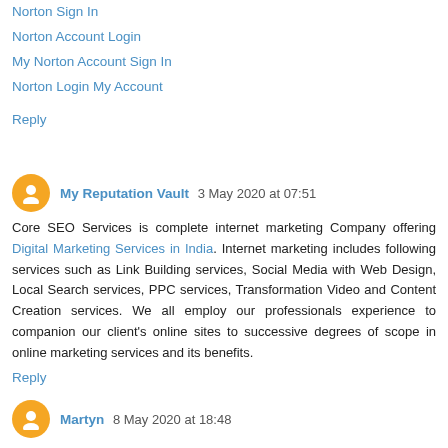Norton Sign In
Norton Account Login
My Norton Account Sign In
Norton Login My Account
Reply
My Reputation Vault  3 May 2020 at 07:51
Core SEO Services is complete internet marketing Company offering Digital Marketing Services in India. Internet marketing includes following services such as Link Building services, Social Media with Web Design, Local Search services, PPC services, Transformation Video and Content Creation services. We all employ our professionals experience to companion our client's online sites to successive degrees of scope in online marketing services and its benefits.
Reply
Martyn  8 May 2020 at 18:48